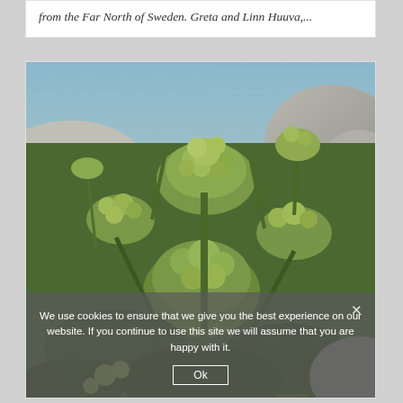from the Far North of Sweden. Greta and Linn Huuva,...
[Figure (photo): Photograph of large flowering plants (likely Angelica archangelica) with globular green flower clusters growing among rocks near a body of water. Rocky shoreline and water visible in background.]
We use cookies to ensure that we give you the best experience on our website. If you continue to use this site we will assume that you are happy with it.